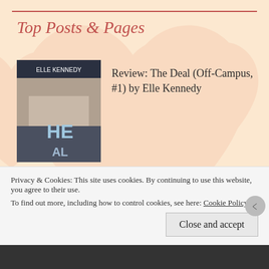Top Posts & Pages
[Figure (photo): Book cover for 'The Deal (Off-Campus, #1)' by Elle Kennedy — shirtless man with text overlay]
Review: The Deal (Off-Campus, #1) by Elle Kennedy
[Figure (photo): Book cover for 'The Foxhole Court (All for the Game, #1)' — orange paw print logo on light background with 'Foxhole Court' text at top]
The Foxhole Court (All for the Game, #1)
Privacy & Cookies: This site uses cookies. By continuing to use this website, you agree to their use.
To find out more, including how to control cookies, see here: Cookie Policy
Close and accept